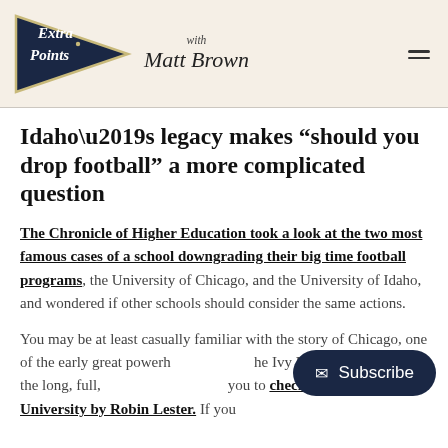Extra Points with Matt Brown
Idaho’s legacy makes “should you drop football” a more complicated question
The Chronicle of Higher Education took a look at the two most famous cases of a school downgrading their big time football programs, the University of Chicago, and the University of Idaho, and wondered if other schools should consider the same actions.
You may be at least casually familiar with the story of Chicago, one of the early great powerhouses of the Ivy League. If you want the long, full, story, I’d encourage you to check out Stagg’s University by Robin Lester. If you